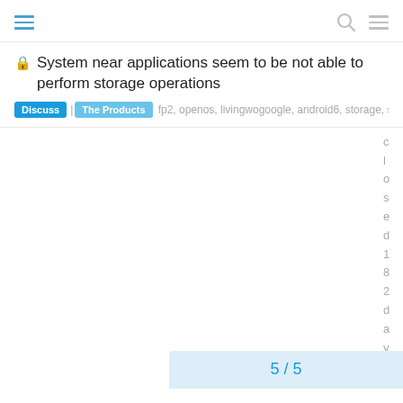System near applications seem to be not able to perform storage operations
System near applications seem to be not able to perform storage operations
Discuss | The Products  fp2, openos, livingwogoogle, android6, storage, system...
c l o s e d 1 8 2 d a y s a y s a
5 / 5